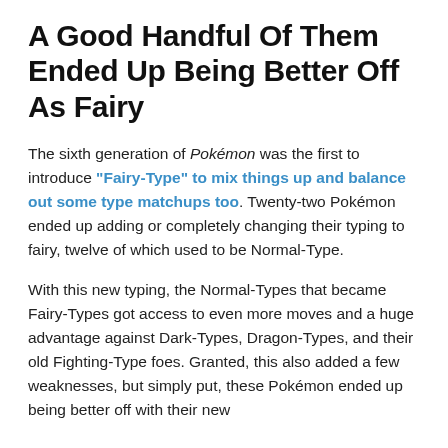A Good Handful Of Them Ended Up Being Better Off As Fairy
The sixth generation of Pokémon was the first to introduce "Fairy-Type" to mix things up and balance out some type matchups too. Twenty-two Pokémon ended up adding or completely changing their typing to fairy, twelve of which used to be Normal-Type.
With this new typing, the Normal-Types that became Fairy-Types got access to even more moves and a huge advantage against Dark-Types, Dragon-Types, and their old Fighting-Type foes. Granted, this also added a few weaknesses, but simply put, these Pokémon ended up being better off with their new